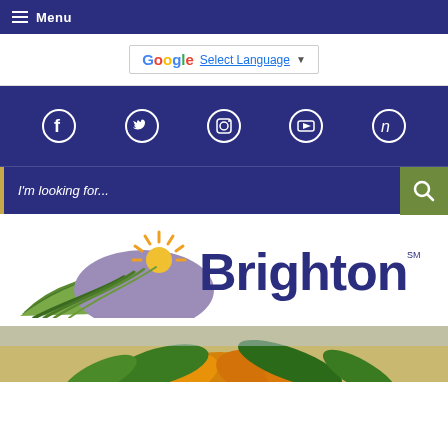Menu
Select Language
[Figure (logo): Social media icons: Facebook, Twitter, Instagram, YouTube, Nextdoor on dark blue background]
I'm looking for...
[Figure (logo): Brighton Colorado city logo with sunflower/sunrise graphic and Brighton text]
[Figure (photo): Sunflower close-up against sky background]
Home › Government › Departments › Utilities › Stormwater › Floodplain